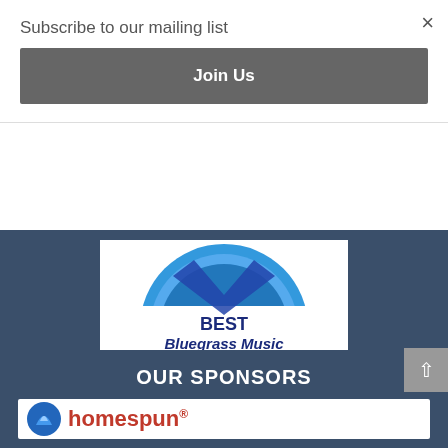Subscribe to our mailing list
×
Join Us
[Figure (illustration): Badge with blue circular design showing 'BEST Bluegrass Music BLOG' and 'EXPERTIDO.ORG' text on dark blue background]
[Figure (logo): OUR SPONSORS section header with Homespun logo — blue arrow icon and red Homespun text with registered trademark symbol]